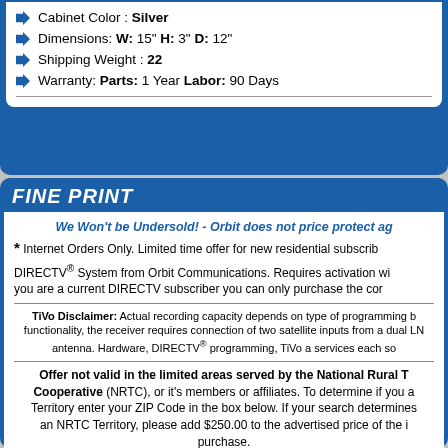Cabinet Color : Silver
Dimensions: W: 15" H: 3" D: 12"
Shipping Weight : 22
Warranty: Parts: 1 Year Labor: 90 Days
FINE PRINT
We Won't be Undersold! - Orbit does not price protect ag...
* Internet Orders Only. Limited time offer for new residential subscrib... DIRECTV® System from Orbit Communications. Requires activation wi... you are a current DIRECTV subscriber you can only purchase the cor...
TiVo Disclaimer: Actual recording capacity depends on type of programming b... functionality, the receiver requires connection of two satellite inputs from a dual LN... antenna. Hardware, DIRECTV® programming, TiVo a services each so...
Offer not valid in the limited areas served by the National Rural T... Cooperative (NRTC), or it's members or affiliates. To determine if you a... Territory enter your ZIP Code in the box below. If your search determines... an NRTC Territory, please add $250.00 to the advertised price of the i... purchase.